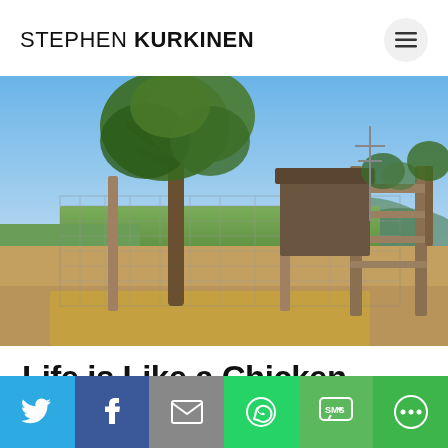STEPHEN KURKINEN
[Figure (photo): Outdoor photo of a chicken coop area with a large tree, wire fencing, wooden posts, green fields and blue sky in the background.]
Life is Like a Chicken Coop
[Figure (infographic): Social sharing bar at the bottom with buttons for Twitter, Facebook, Email, WhatsApp, SMS, and More.]